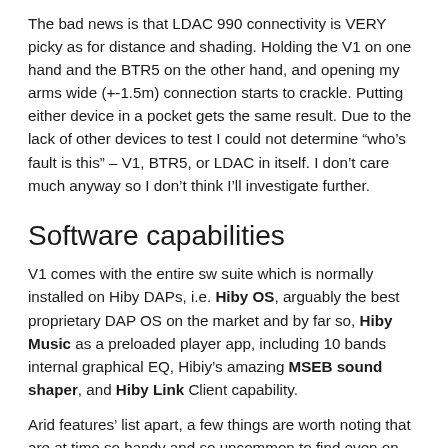The bad news is that LDAC 990 connectivity is VERY picky as for distance and shading. Holding the V1 on one hand and the BTR5 on the other hand, and opening my arms wide (+-1.5m) connection starts to crackle. Putting either device in a pocket gets the same result. Due to the lack of other devices to test I could not determine “who’s fault is this” – V1, BTR5, or LDAC in itself. I don’t care much anyway so I don’t think I’ll investigate further.
Software capabilities
V1 comes with the entire sw suite which is normally installed on Hiby DAPs, i.e. Hiby OS, arguably the best proprietary DAP OS on the market and by far so, Hiby Music as a preloaded player app, including 10 bands internal graphical EQ, Hibiy’s amazing MSEB sound shaper, and Hiby Link Client capability.
Arid features’ list apart, a few things are worth noting that are at time so handy and so uncommon to find even on